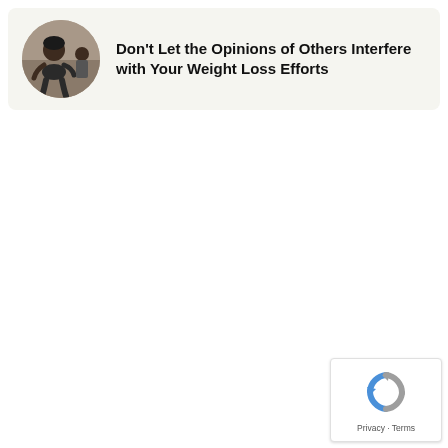[Figure (illustration): Circular thumbnail image of a person sitting, appearing to be in a gym or exercise setting, with another person visible in the background]
Don't Let the Opinions of Others Interfere with Your Weight Loss Efforts
[Figure (logo): Google reCAPTCHA badge with spinning arrows logo and Privacy · Terms text]